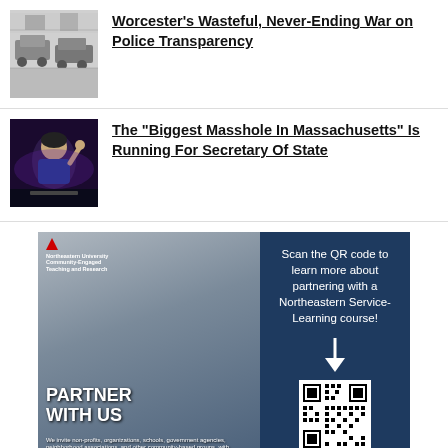[Figure (photo): Black and white sketch/photo of street scene with police]
Worcester’s Wasteful, Never-Ending War on Police Transparency
[Figure (photo): Photo of a woman on stage with dark/purple background]
The “Biggest Masshole In Massachusetts” Is Running For Secretary Of State
[Figure (infographic): Northeastern University Community-Engaged Teaching and Research advertisement. Shows people looking at a phone, text PARTNER WITH US, invitation to partner with Northeastern Service-Learning course with QR code.]